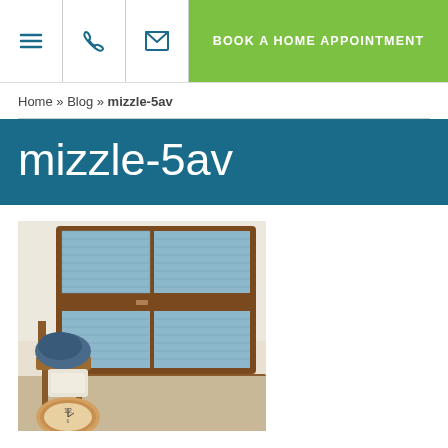BOOK A HOME APPOINTMENT
Home » Blog » mizzle-5av
mizzle-5av
[Figure (photo): A wooden-framed window fitted with blue cellular/honeycomb blinds, with a wooden chair in front holding a denim jacket, a decorative pillow, and a clock on the floor.]